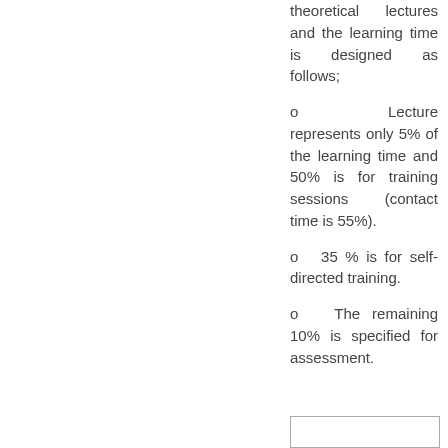theoretical lectures and the learning time is designed as follows;
o  Lecture represents only 5% of the learning time and 50% is for training sessions (contact time is 55%).
o  35 % is for self-directed training.
o  The remaining 10% is specified for assessment.
[Figure (other): Empty box outline at bottom of right column]